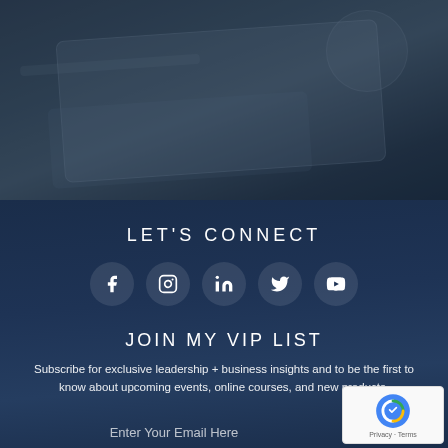[Figure (photo): Dark-toned photo of a desk with laptop and papers, overlaid with dark blue gradient]
LET'S CONNECT
[Figure (infographic): Row of five social media icon circles: Facebook, Instagram, LinkedIn, Twitter, YouTube]
JOIN MY VIP LIST
Subscribe for exclusive leadership + business insights and to be the first to know about upcoming events, online courses, and new products.
Enter Your Email Here